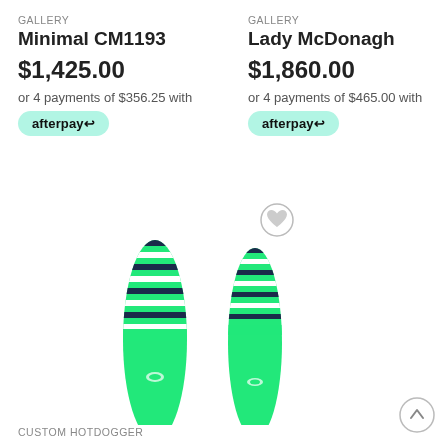GALLERY
Minimal CM1193
$1,425.00
or 4 payments of $356.25 with afterpay
GALLERY
Lady McDonagh
$1,860.00
or 4 payments of $465.00 with afterpay
[Figure (photo): Two green surfboards with navy/white striped tops displayed side by side]
CUSTOM HOTDOGGER